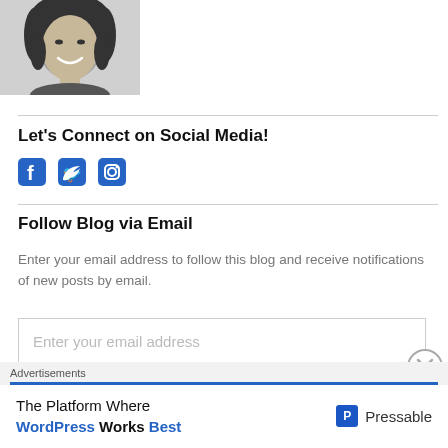[Figure (photo): Black and white headshot photo of a smiling woman with curly hair]
Let's Connect on Social Media!
[Figure (illustration): Social media icons: Facebook, Twitter, Instagram in blue]
Follow Blog via Email
Enter your email address to follow this blog and receive notifications of new posts by email.
Enter your email address
Advertisements
The Platform Where WordPress Works Best
[Figure (logo): Pressable logo with P icon]